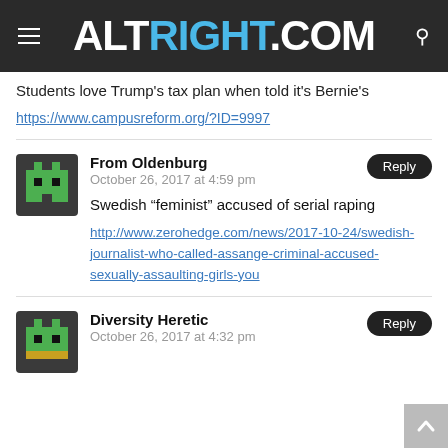ALTRIGHT.COM
Students love Trump's tax plan when told it's Bernie's
https://www.campusreform.org/?ID=9997
From Oldenburg
October 26, 2017 at 4:59 pm
Swedish “feminist” accused of serial raping
http://www.zerohedge.com/news/2017-10-24/swedish-journalist-who-called-assange-criminal-accused-sexually-assaulting-girls-you
Diversity Heretic
October 26, 2017 at 4:32 pm